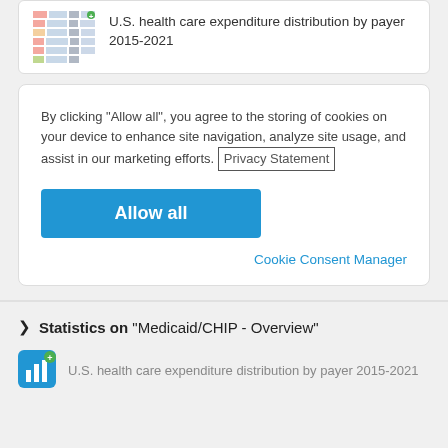[Figure (infographic): Small thumbnail of a stacked bar chart showing U.S. health care expenditure distribution by payer 2015-2021]
U.S. health care expenditure distribution by payer 2015-2021
By clicking “Allow all”, you agree to the storing of cookies on your device to enhance site navigation, analyze site usage, and assist in our marketing efforts. Privacy Statement
Allow all
Cookie Consent Manager
Statistics on "Medicaid/CHIP - Overview"
[Figure (infographic): Small blue bar chart icon with green plus symbol]
U.S. health care expenditure distribution by payer 2015-2021